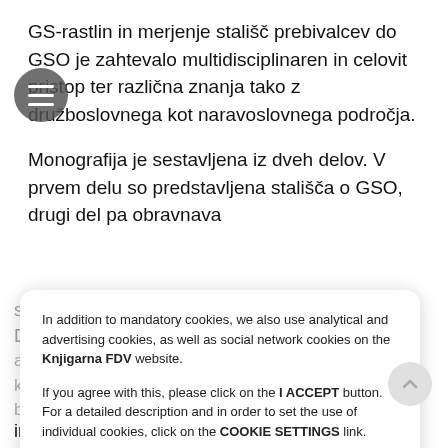GS-rastlin in merjenje stališč prebivalcev do GSO je zahtevalo multidisciplinaren in celovit pristop ter različna znanja tako z družboslovnega kot naravoslovnega področja.
Monografija je sestavljena iz dveh delov. V prvem delu so predstavljena stališča o GSO, drugi del pa obravnava
socio-ekonomske dejavnike pridelave GS-rastlin. V [background text partially obscured]
In addition to mandatory cookies, we also use analytical and advertising cookies, as well as social network cookies on the Knjigarna FDV website.

If you agree with this, please click on the I ACCEPT button. For a detailed description and in order to set the use of individual cookies, click on the COOKIE SETTINGS link.
in Melita Poler Kovacic odgovarjajo na vprašanje,